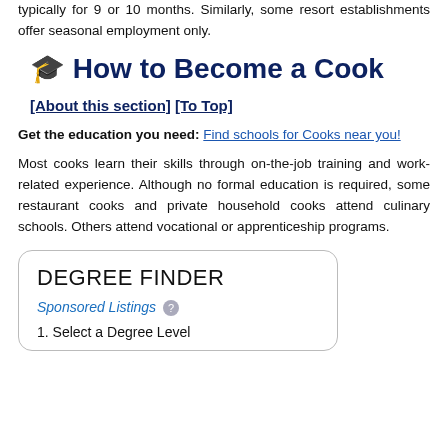typically for 9 or 10 months. Similarly, some resort establishments offer seasonal employment only.
🎓 How to Become a Cook [About this section] [To Top]
Get the education you need: Find schools for Cooks near you!
Most cooks learn their skills through on-the-job training and work-related experience. Although no formal education is required, some restaurant cooks and private household cooks attend culinary schools. Others attend vocational or apprenticeship programs.
DEGREE FINDER
Sponsored Listings ?
1. Select a Degree Level